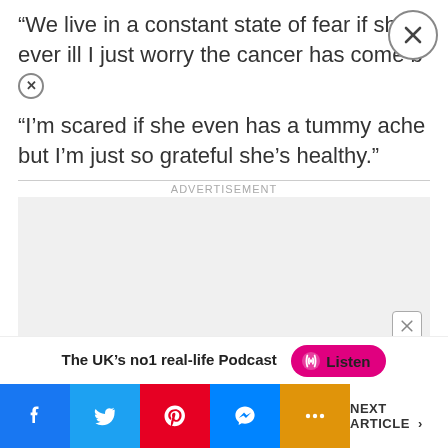“We live in a constant state of fear if she’s ever ill I just worry the cancer has come b…
“I’m scared if she even has a tummy ache but I’m just so grateful she’s healthy.”
[Figure (other): Advertisement placeholder box (grey rectangle)]
The UK’s no1 real-life Podcast  Listen
[Figure (other): Social share buttons bar: Facebook, Twitter, Pinterest, Messenger, More (...), and NEXT ARTICLE >]